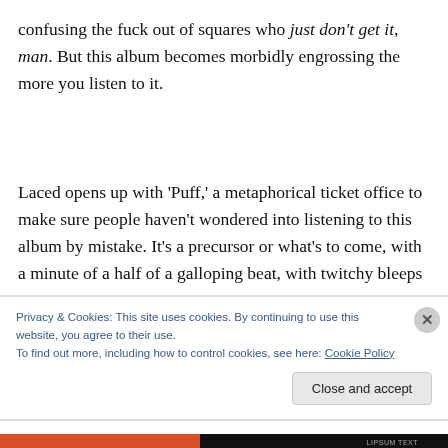confusing the fuck out of squares who just don't get it, man. But this album becomes morbidly engrossing the more you listen to it.
Laced opens up with 'Puff,' a metaphorical ticket office to make sure people haven't wondered into listening to this album by mistake. It's a precursor or what's to come, with a minute of a half of a galloping beat, with twitchy bleeps
Privacy & Cookies: This site uses cookies. By continuing to use this website, you agree to their use.
To find out more, including how to control cookies, see here: Cookie Policy
Close and accept